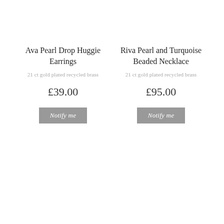Ava Pearl Drop Huggie Earrings
21 ct gold plated recycled brass
£39.00
Notify me
Riva Pearl and Turquoise Beaded Necklace
21 ct gold plated recycled brass
£95.00
Notify me